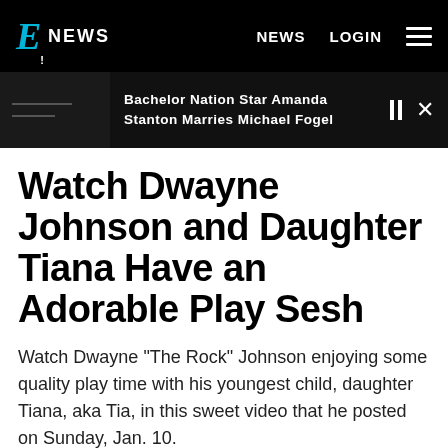E! NEWS | NEWS | LOGIN
Bachelor Nation Star Amanda Stanton Marries Michael Fogel
Watch Dwayne Johnson and Daughter Tiana Have an Adorable Play Sesh
Watch Dwayne "The Rock" Johnson enjoying some quality play time with his youngest child, daughter Tiana, aka Tia, in this sweet video that he posted on Sunday, Jan. 10.
By CORINNE HELLER
JAN 10, 2021 9:49 PM   TAGS